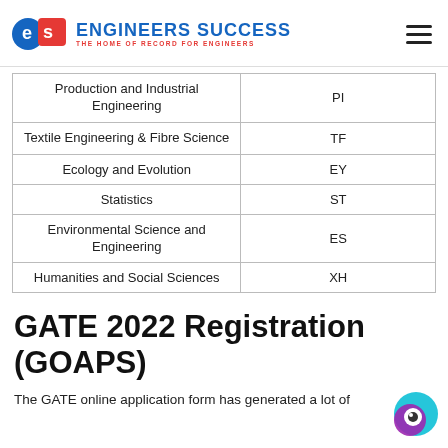Engineers Success
| Production and Industrial Engineering | PI |
| Textile Engineering & Fibre Science | TF |
| Ecology and Evolution | EY |
| Statistics | ST |
| Environmental Science and Engineering | ES |
| Humanities and Social Sciences | XH |
GATE 2022 Registration (GOAPS)
The GATE online application form has generated a lot of...